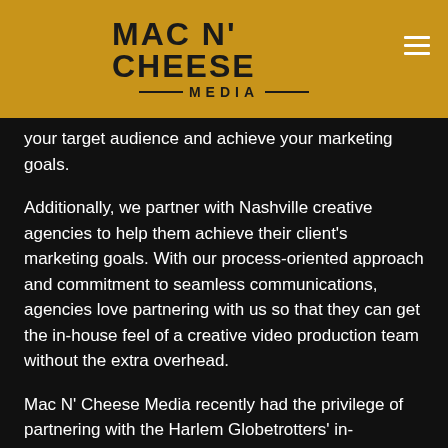MAC N' CHEESE MEDIA
your target audience and achieve your marketing goals.
Additionally, we partner with Nashville creative agencies to help them achieve their client's marketing goals. With our process-oriented approach and commitment to seamless communications, agencies love partnering with us so that they can get the in-house feel of a creative video production team without the extra overhead.
Mac N' Cheese Media recently had the privilege of partnering with the Harlem Globetrotters' in-